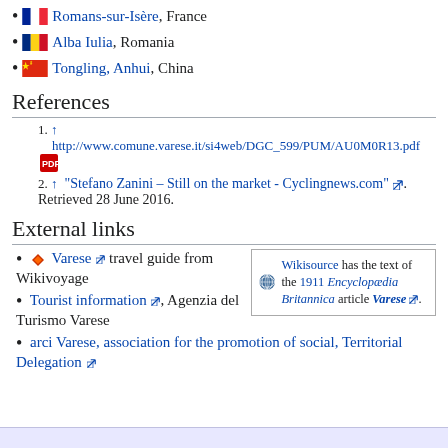Romans-sur-Isère, France
Alba Iulia, Romania
Tongling, Anhui, China
References
↑ http://www.comune.varese.it/si4web/DGC_599/PUM/AU0M0R13.pdf
↑ "Stefano Zanini – Still on the market - Cyclingnews.com". Retrieved 28 June 2016.
External links
Varese travel guide from Wikivoyage
[Figure (logo): Wikisource logo with text: Wikisource has the text of the 1911 Encyclopædia Britannica article Varese.]
Tourist information, Agenzia del Turismo Varese
arci Varese, association for the promotion of social, Territorial Delegation